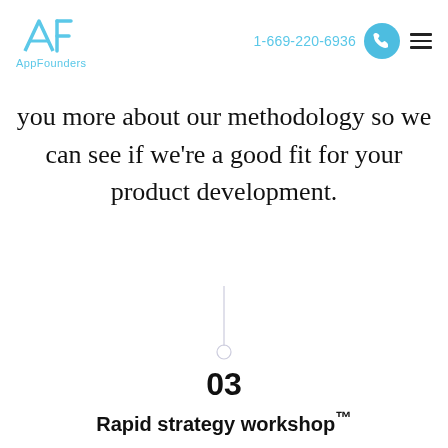AppFounders | 1-669-220-6936
you more about our methodology so we can see if we're a good fit for your product development.
[Figure (illustration): A thin vertical line with a small circle at the bottom, acting as a connector/divider between sections.]
03
Rapid strategy workshop™